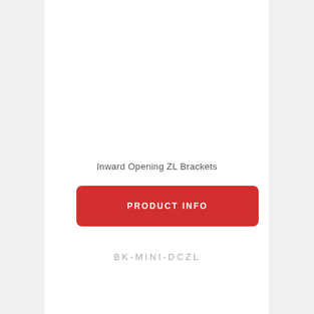Inward Opening ZL Brackets
[Figure (other): Red button with white text 'PRODUCT INFO' and a right-pointing arrow on the right side]
BK-MINI-DCZL